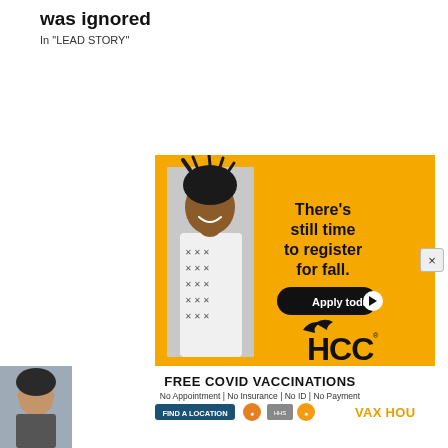was ignored
In "LEAD STORY"
[Figure (illustration): HCC college advertisement banner with a young man smiling, yellow background, text: There's still time to register for fall. Apply today button, HCC logo with bird.]
[Figure (illustration): Free COVID Vaccinations advertisement: No Appointment | No Insurance | No ID | No Payment. Find a Location button. VAX HOU logo.]